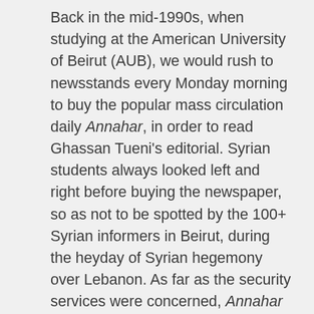Back in the mid-1990s, when studying at the American University of Beirut (AUB), we would rush to newsstands every Monday morning to buy the popular mass circulation daily Annahar, in order to read Ghassan Tueni's editorial. Syrian students always looked left and right before buying the newspaper, so as not to be spotted by the 100+ Syrian informers in Beirut, during the heyday of Syrian hegemony over Lebanon. As far as the security services were concerned, Annahar was a crime, and so was Ghassan Tueni. As students, we would read his inflammatory articles, and were enchanted by his sharp criticism of Lebanese and Syrian affairs, and his never-ending defense of democracy and freedom. He said things that we never dared to voice in the 1990s, mirroring our hidden thoughts and aspirations.